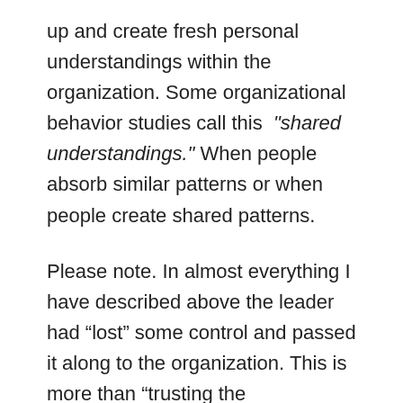up and create fresh personal understandings within the organization. Some organizational behavior studies call this “shared understandings.” When people absorb similar patterns or when people create shared patterns.
Please note. In almost everything I have described above the leader had “lost” some control and passed it along to the organization. This is more than “trusting the organization or your people.” This is a personal understanding of “self.” It takes some inner strength to watch “your plan”